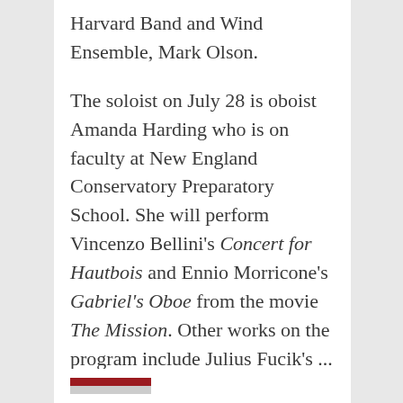Harvard Band and Wind Ensemble, Mark Olson.
The soloist on July 28 is oboist Amanda Harding who is on faculty at New England Conservatory Preparatory School. She will perform Vincenzo Bellini's Concert for Hautbois and Ennio Morricone's Gabriel's Oboe from the movie The Mission. Other works on the program include Julius Fucik's ...